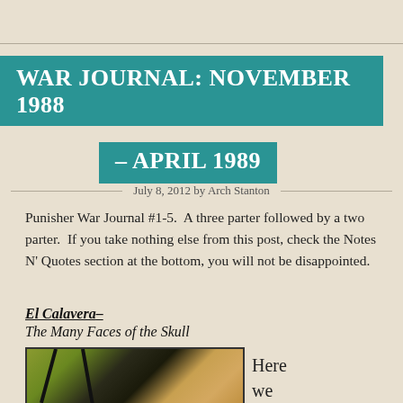WAR JOURNAL: NOVEMBER 1988 – APRIL 1989
July 8, 2012 by Arch Stanton
Punisher War Journal #1-5.  A three parter followed by a two parter.  If you take nothing else from this post, check the Notes N' Quotes section at the bottom, you will not be disappointed.
El Calavera–
The Many Faces of the Skull
[Figure (illustration): Comic book cover art showing a skull-faced figure with diagonal black lines over a yellow and orange background]
Here we learn